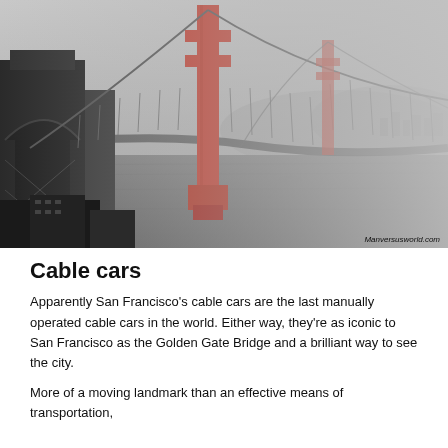[Figure (photo): Black and white photo of the Golden Gate Bridge in San Francisco, partially in fog, with orange/red colored bridge towers. Watermark reads 'Manversusworld.com' in bottom right.]
Cable cars
Apparently San Francisco's cable cars are the last manually operated cable cars in the world. Either way, they're as iconic to San Francisco as the Golden Gate Bridge and a brilliant way to see the city.
More of a moving landmark than an effective means of transportation,